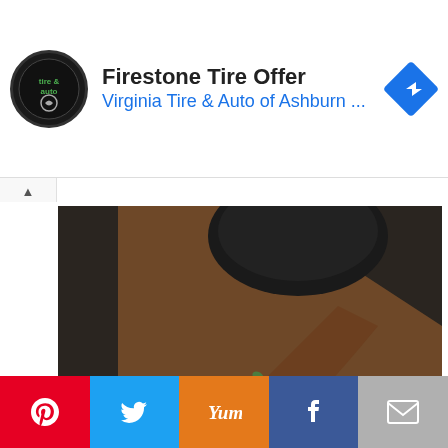[Figure (screenshot): Advertisement banner for Firestone Tire Offer from Virginia Tire & Auto of Ashburn, with circular logo on left and blue navigation diamond icon on right]
[Figure (photo): Top-down food photography showing wooden spoons/utensils with a dark bowl and green herb garnishes scattered on a dark surface; circular watermark visible]
Are Khaman and Dhokla same or is there any difference ?
[Figure (infographic): Social share bar with five buttons: Pinterest (red), Twitter (blue), Yummly (orange), Facebook (dark blue), Email (gray)]